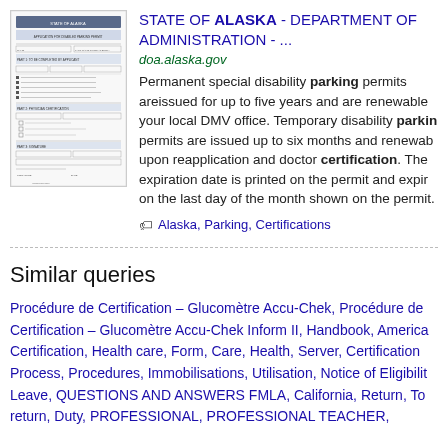[Figure (other): Thumbnail preview of Alaska disability parking permit form document]
STATE OF ALASKA - DEPARTMENT OF ADMINISTRATION - ...
doa.alaska.gov
Permanent special disability parking permits are issued for up to five years and are renewable your local DMV office. Temporary disability parking permits are issued up to six months and renewable upon reapplication and doctor certification. The expiration date is printed on the permit and expires on the last day of the month shown on the permit.
Alaska, Parking, Certifications
Similar queries
Procédure de Certification – Glucomètre Accu-Chek, Procédure de Certification – Glucomètre Accu-Chek Inform II, Handbook, American Certification, Health care, Form, Care, Health, Server, Certification Process, Procedures, Immobilisations, Utilisation, Notice of Eligibility Leave, QUESTIONS AND ANSWERS FMLA, California, Return, To return, Duty, PROFESSIONAL, PROFESSIONAL TEACHER,